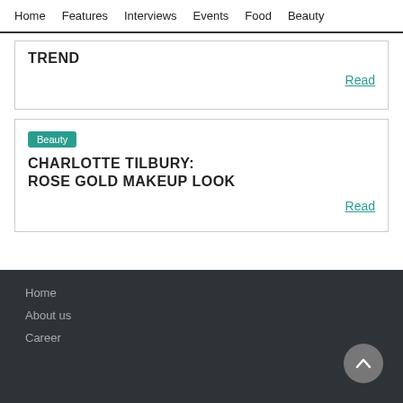Home   Features   Interviews   Events   Food   Beauty
TREND
Read
Beauty
CHARLOTTE TILBURY: ROSE GOLD MAKEUP LOOK
Read
Home
About us
Career